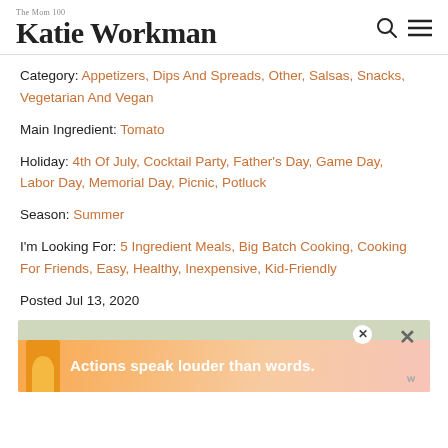The Mom 100 Katie Workman
Category: Appetizers, Dips And Spreads, Other, Salsas, Snacks, Vegetarian And Vegan
Main Ingredient: Tomato
Holiday: 4th Of July, Cocktail Party, Father's Day, Game Day, Labor Day, Memorial Day, Picnic, Potluck
Season: Summer
I'm Looking For: 5 Ingredient Meals, Big Batch Cooking, Cooking For Friends, Easy, Healthy, Inexpensive, Kid-Friendly
Posted Jul 13, 2020
[Figure (other): Advertisement banner with text 'Actions speak louder than words.' on a pink/peach background with a person figure in yellow jacket]